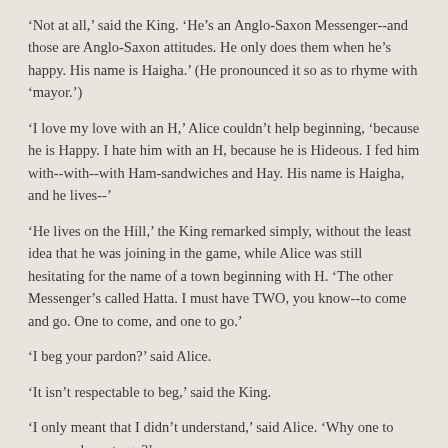'Not at all,' said the King. 'He's an Anglo-Saxon Messenger--and those are Anglo-Saxon attitudes. He only does them when he's happy. His name is Haigha.' (He pronounced it so as to rhyme with 'mayor.')
'I love my love with an H,' Alice couldn't help beginning, 'because he is Happy. I hate him with an H, because he is Hideous. I fed him with--with--with Ham-sandwiches and Hay. His name is Haigha, and he lives--'
'He lives on the Hill,' the King remarked simply, without the least idea that he was joining in the game, while Alice was still hesitating for the name of a town beginning with H. 'The other Messenger's called Hatta. I must have TWO, you know--to come and go. One to come, and one to go.'
'I beg your pardon?' said Alice.
'It isn't respectable to beg,' said the King.
'I only meant that I didn't understand,' said Alice. 'Why one to come and one to go?'
'Didn't I tell you?' the King repeated impatiently. 'I must have Two--to fetch and carry. One to fetch, and one to carry.'
At this moment the Messenger arrived: he was far too much out of breath to say a word, and could only wave his hands about, and make the most fearful faces at the poor King.
'This young lady loves you with an H,' the King said, introducing